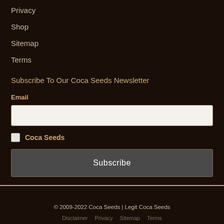Privacy
Shop
Sitemap
Terms
Subscribe To Our Coca Seeds Newsletter
Email
Coca Seeds
Subscribe
© 2009-2022 Coca Seeds | Legit Coca Seeds
Disclaimer   Privacy   Sitemap   Terms